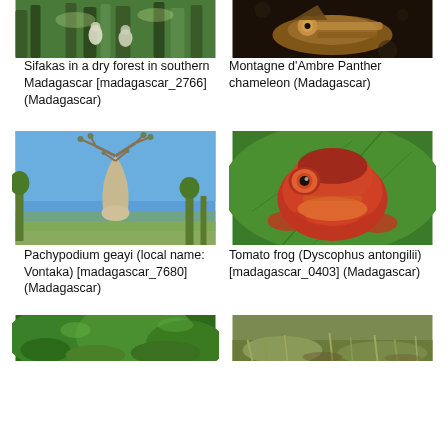[Figure (photo): Sifakas in a dry forest in southern Madagascar]
Sifakas in a dry forest in southern Madagascar [madagascar_2766] (Madagascar)
[Figure (photo): Montagne d'Ambre Panther chameleon (Madagascar)]
Montagne d'Ambre Panther chameleon (Madagascar)
[Figure (photo): Pachypodium geayi (local name: Vontaka) - baobab-like tree against blue sky]
Pachypodium geayi (local name: Vontaka) [madagascar_7680] (Madagascar)
[Figure (photo): Tomato frog (Dyscophus antongilii) close-up]
Tomato frog (Dyscophus antongilii) [madagascar_0403] (Madagascar)
[Figure (photo): Green vegetation, Madagascar]
[Figure (photo): Green ground vegetation, Madagascar]